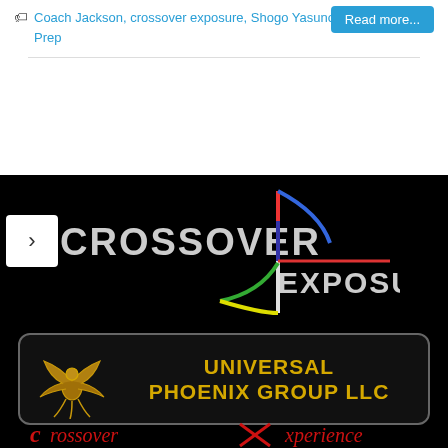Coach Jackson, crossover exposure, Shogo Yasunobu, Victory Rock Prep
Read more...
[Figure (logo): Crossover Exposure logo on black background with colorful vertical line graphic]
[Figure (logo): Universal Phoenix Group LLC logo with gold phoenix bird and gold text on dark background]
[Figure (logo): Partial red cursive text at bottom of black banner section]